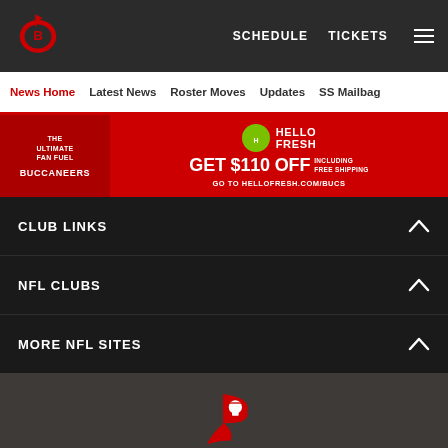Tampa Bay Buccaneers website header with logo, SCHEDULE, TICKETS, and hamburger menu
News Home | Latest News | Roster Moves | Updates | SS Mailbag
[Figure (infographic): Hello Fresh advertisement banner: GET $110 OFF including free shipping, go to hellofresh.com/bucs]
CLUB LINKS
NFL CLUBS
MORE NFL SITES
[Figure (logo): Tampa Bay Buccaneers logo (large, color)]
© TAMPA BAY BUCCANEERS. ALL RIGHTS RESERVED
[Figure (infographic): Social share icons: Facebook, Twitter, Email, Link]